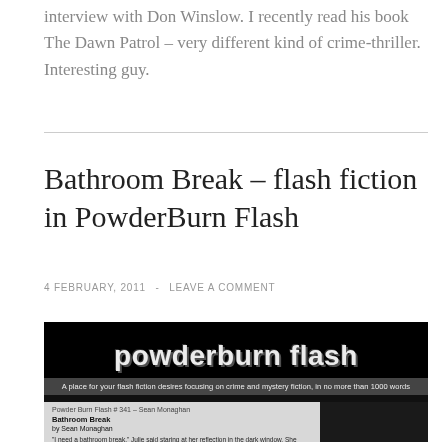interview with Don Winslow. I recently read his book The Dawn Patrol – very different kind of crime-thriller. Interesting guy.
Bathroom Break – flash fiction in PowderBurn Flash
4 FEBRUARY, 2011  -  LEAVE A COMMENT
[Figure (screenshot): Screenshot of the PowderBurn Flash website showing the site logo in a grunge/distressed font style, a subtitle reading 'A place for your flash fiction desires focusing on crime and mystery fiction, in no more than 1000 words', and a preview of the story 'Bathroom Break by Sean Monaghan' with opening line text visible.]